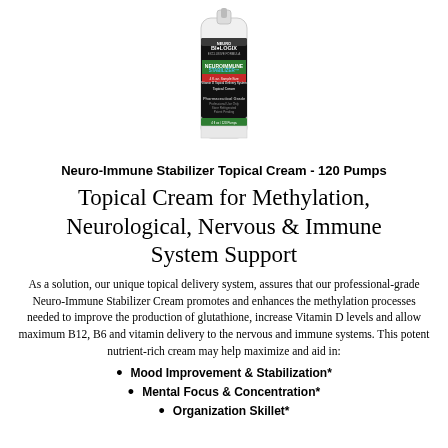[Figure (photo): Product photo of Neuro-Immune Stabilizer Topical Cream bottle with pump, white bottle with black and green label, shown from front]
Neuro-Immune Stabilizer Topical Cream - 120 Pumps
Topical Cream for Methylation, Neurological, Nervous & Immune System Support
As a solution, our unique topical delivery system, assures that our professional-grade Neuro-Immune Stabilizer Cream promotes and enhances the methylation processes needed to improve the production of glutathione, increase Vitamin D levels and allow maximum B12, B6 and vitamin delivery to the nervous and immune systems. This potent nutrient-rich cream may help maximize and aid in:
Mood Improvement & Stabilization*
Mental Focus & Concentration*
Organization Skillet*